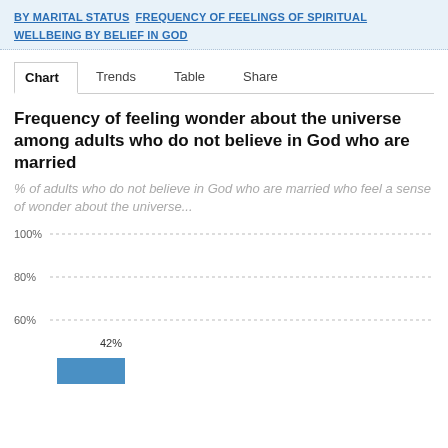BY MARITAL STATUS   FREQUENCY OF FEELINGS OF SPIRITUAL WELLBEING BY BELIEF IN GOD
Frequency of feeling wonder about the universe among adults who do not believe in God who are married
% of adults who do not believe in God who are married who feel a sense of wonder about the universe...
[Figure (bar-chart): Frequency of feeling wonder about the universe among adults who do not believe in God who are married]